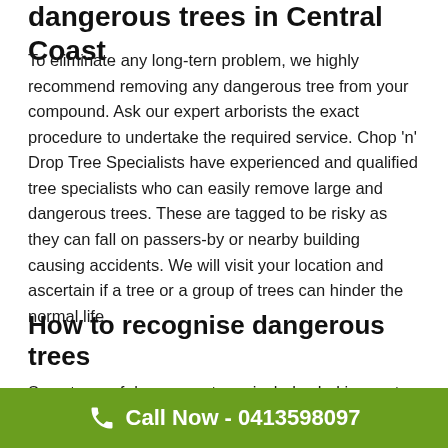dangerous trees in Central Coast
To eliminate any long-tern problem, we highly recommend removing any dangerous tree from your compound. Ask our expert arborists the exact procedure to undertake the required service. Chop 'n' Drop Tree Specialists have experienced and qualified tree specialists who can easily remove large and dangerous trees. These are tagged to be risky as they can fall on passers-by or nearby building causing accidents. We will visit your location and ascertain if a tree or a group of trees can hinder the normal life.
How to recognise dangerous trees
Symptoms of dangerous trees include shaking root,
Call Now - 0413598097